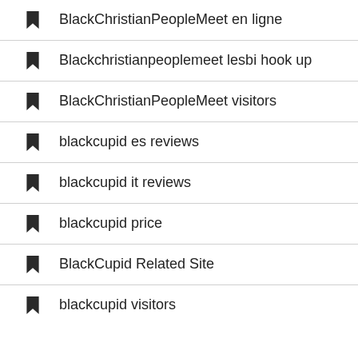BlackChristianPeopleMeet en ligne
Blackchristianpeoplemeet lesbi hook up
BlackChristianPeopleMeet visitors
blackcupid es reviews
blackcupid it reviews
blackcupid price
BlackCupid Related Site
blackcupid visitors